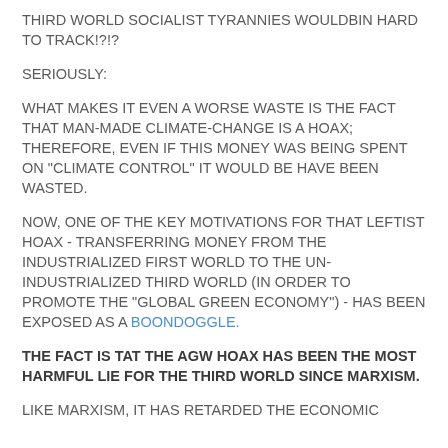THIRD WORLD SOCIALIST TYRANNIES WOULDBIN HARD TO TRACK!?!?
SERIOUSLY:
WHAT MAKES IT EVEN A WORSE WASTE IS THE FACT THAT MAN-MADE CLIMATE-CHANGE IS A HOAX; THEREFORE, EVEN IF THIS MONEY WAS BEING SPENT ON "CLIMATE CONTROL" IT WOULD BE HAVE BEEN WASTED.
NOW, ONE OF THE KEY MOTIVATIONS FOR THAT LEFTIST HOAX - TRANSFERRING MONEY FROM THE INDUSTRIALIZED FIRST WORLD TO THE UN-INDUSTRIALIZED THIRD WORLD (IN ORDER TO PROMOTE THE "GLOBAL GREEN ECONOMY") - HAS BEEN EXPOSED AS A BOONDOGGLE.
THE FACT IS TAT THE AGW HOAX HAS BEEN THE MOST HARMFUL LIE FOR THE THIRD WORLD SINCE MARXISM.
LIKE MARXISM, IT HAS RETARDED THE ECONOMIC